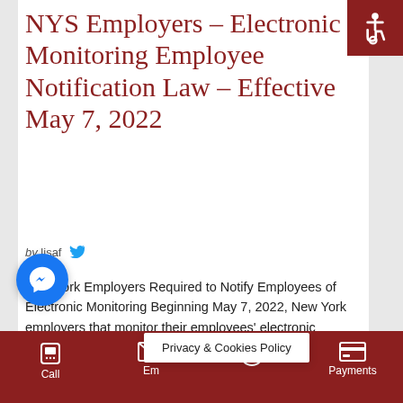NYS Employers – Electronic Monitoring Employee Notification Law – Effective May 7, 2022
by lisaf
New York Employers Required to Notify Employees of Electronic Monitoring Beginning May 7, 2022, New York employers that monitor their employees' electronic activities will have certain notification obligations. The new [...]
Call  Email  [alert]  Payments  Privacy & Cookies Policy